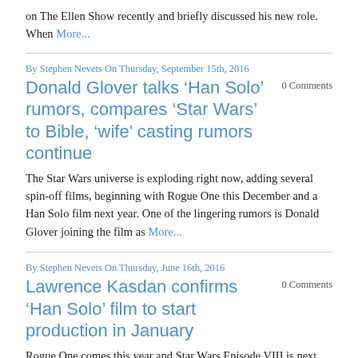on The Ellen Show recently and briefly discussed his new role. When More...
By Stephen Nevets On Thursday, September 15th, 2016
Donald Glover talks ‘Han Solo’ rumors, compares ‘Star Wars’ to Bible, ‘wife’ casting rumors continue
0 Comments
The Star Wars universe is exploding right now, adding several spin-off films, beginning with Rogue One this December and a Han Solo film next year. One of the lingering rumors is Donald Glover joining the film as More...
By Stephen Nevets On Thursday, June 16th, 2016
Lawrence Kasdan confirms ‘Han Solo’ film to start production in January
0 Comments
Rogue One comes this year and Star Wars Episode VIII is next year. Fans are also eager to learn more about the upcoming Han Solo